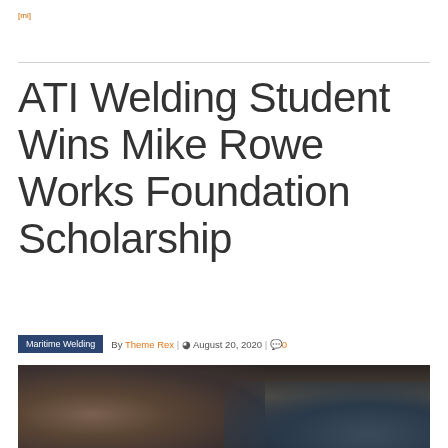[mi]
ATI Welding Student Wins Mike Rowe Works Foundation Scholarship
Maritime Welding | By Theme Rex | August 20, 2020 | 0
[Figure (photo): Close-up photo of a person welding, wearing gloves and a cap, with welding equipment visible]